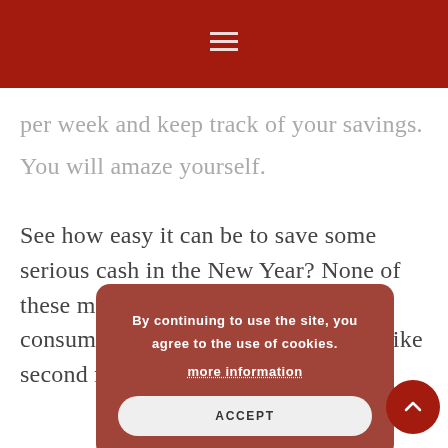per week and keep track of your savings. You will amaze yourself.
See how easy it can be to save some serious cash in the New Year? None of these methods are tricky or time-consuming, in fact, they can become like second nature.
By continuing to use the site, you agree to the use of cookies. more information ACCEPT